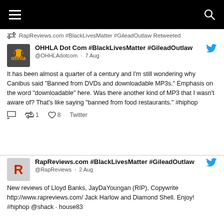Navigation bar with hamburger menu and search icon
RapReviews.com #BlackLivesMatter #GileadOutlaw Retweeted
OHHLA Dot Com #BlackLivesMatter #GileadOutlaw @OHHLAdotcom · 7 Aug
It has been almost a quarter of a century and I'm still wondering why Canibus said "Banned from DVDs and downloadable MP3s." Emphasis on the word "downloadable" here. Was there another kind of MP3 that I wasn't aware of? That's like saying "banned from food restaurants." #hiphop
1 8 Twitter
RapReviews.com #BlackLivesMatter #GileadOutlaw @RapReviews · 2 Aug
New reviews of Lloyd Banks, JayDaYoungan (RIP), Copywrite http://www.rapreviews.com/ Jack Harlow and Diamond Shell. Enjoy! #hiphop @shack · house83